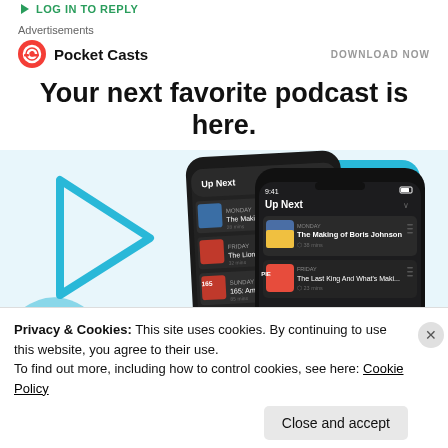LOG IN TO REPLY
Advertisements
[Figure (logo): Pocket Casts logo with red circular icon and brand name, plus DOWNLOAD NOW button]
Your next favorite podcast is here.
[Figure (screenshot): Two smartphone screens showing Pocket Casts app with Up Next queue listing podcast episodes including The Making of Boris Johnson and The Last King And What's Maki...]
Privacy & Cookies: This site uses cookies. By continuing to use this website, you agree to their use.
To find out more, including how to control cookies, see here: Cookie Policy
Close and accept